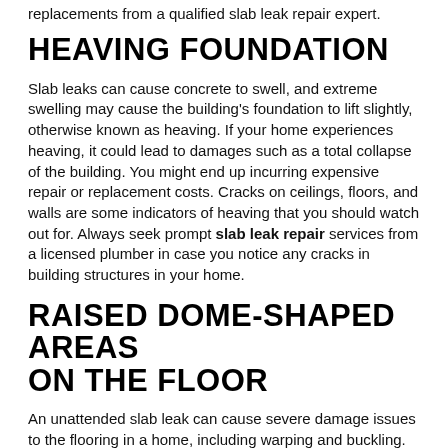replacements from a qualified slab leak repair expert.
HEAVING FOUNDATION
Slab leaks can cause concrete to swell, and extreme swelling may cause the building's foundation to lift slightly, otherwise known as heaving. If your home experiences heaving, it could lead to damages such as a total collapse of the building. You might end up incurring expensive repair or replacement costs. Cracks on ceilings, floors, and walls are some indicators of heaving that you should watch out for. Always seek prompt slab leak repair services from a licensed plumber in case you notice any cracks in building structures in your home.
RAISED DOME-SHAPED AREAS ON THE FLOOR
An unattended slab leak can cause severe damage issues to the flooring in a home, including warping and buckling. The deformed areas on the floor may be the